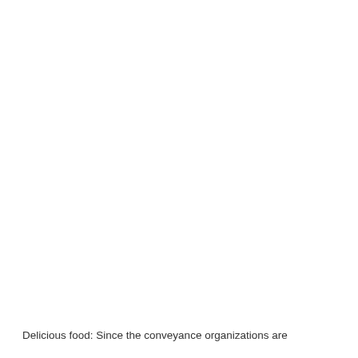Delicious food: Since the conveyance organizations are